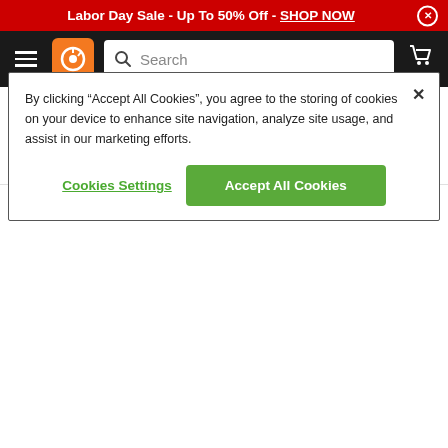Labor Day Sale - Up To 50% Off - SHOP NOW
[Figure (screenshot): Navigation bar with hamburger menu, orange logo, search bar, and cart icon on dark background]
10% SAVINGS
[Figure (other): Progress bar showing partial completion, orange fill on gray background]
PRODUCT DETAILS
Product Description
By clicking “Accept All Cookies”, you agree to the storing of cookies on your device to enhance site navigation, analyze site usage, and assist in our marketing efforts.
Cookies Settings | Accept All Cookies